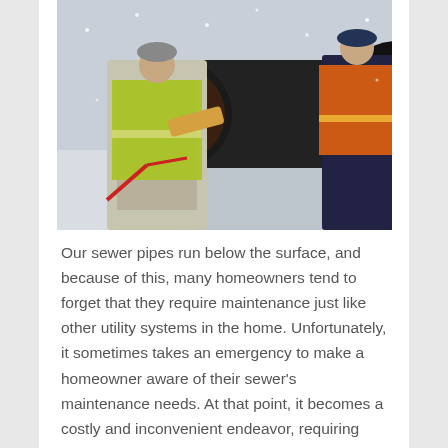[Figure (photo): Two workers in high-visibility vests working on a large industrial pipe in a snowy outdoor setting. One worker wears a yellow-green vest and the other an orange vest. A large dark pipe section is lying on the ground.]
Our sewer pipes run below the surface, and because of this, many homeowners tend to forget that they require maintenance just like other utility systems in the home. Unfortunately, it sometimes takes an emergency to make a homeowner aware of their sewer's maintenance needs. At that point, it becomes a costly and inconvenient endeavor, requiring sewer system